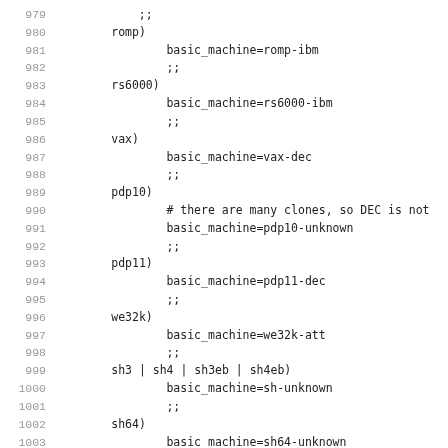Code listing lines 979-1011: shell script case statement for machine type detection
979: ;;
980: romp)
981:     basic_machine=romp-ibm
982:     ;;
983: rs6000)
984:     basic_machine=rs6000-ibm
985:     ;;
986: vax)
987:     basic_machine=vax-dec
988:     ;;
989: pdp10)
990:     # there are many clones, so DEC is not
991:     basic_machine=pdp10-unknown
992:     ;;
993: pdp11)
994:     basic_machine=pdp11-dec
995:     ;;
996: we32k)
997:     basic_machine=we32k-att
998:     ;;
999: sh3 | sh4 | sh3eb | sh4eb)
1000:     basic_machine=sh-unknown
1001:     ;;
1002: sh64)
1003:     basic_machine=sh64-unknown
1004:     ;;
1005: sparc | sparcv9 | sparcv9b)
1006:     basic_machine=sparc-sun
1007:     ;;
1008: cydra)
1009:     basic_machine=cydra-cydrome
1010:     ;;
1011: orion)